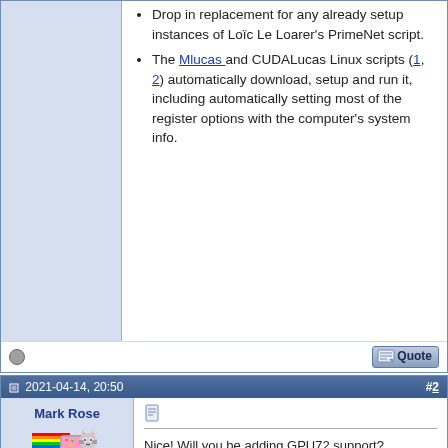Drop in replacement for any already setup instances of Loïc Le Loarer's PrimeNet script.
The Mlucas and CUDALucas Linux scripts (1, 2) automatically download, setup and run it, including automatically setting most of the register options with the computer's system info.
2021-04-14, 20:50  #2
Mark Rose
Nice! Will you be adding GPU72 support?
"/X\('-')/X\"  Jan 2013  2951₁₀ Posts
2021-04-15, 09:26  #3
tdulcet